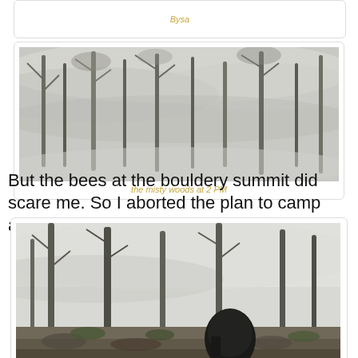[Figure (photo): Misty eucalyptus forest viewed from below, grey fog among tree canopy]
the misty woods at 2 PM
But the bees at the bouldery summit did scare me. So I aborted the plan to camp alone at the summit.
[Figure (photo): Misty forest at summit with a dark backpack sitting on rocky ground among bare trees]
the summit at the camp site